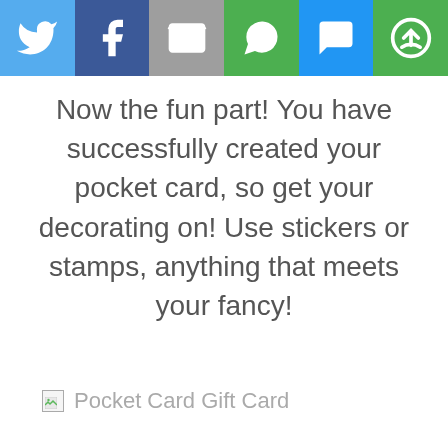[Figure (other): Social sharing toolbar with icons for Twitter, Facebook, Email, WhatsApp, SMS, and a share/reload icon on colored backgrounds]
Now the fun part! You have successfully created your pocket card, so get your decorating on! Use stickers or stamps, anything that meets your fancy!
[Figure (photo): Broken image placeholder labeled 'Pocket Card Gift Card']